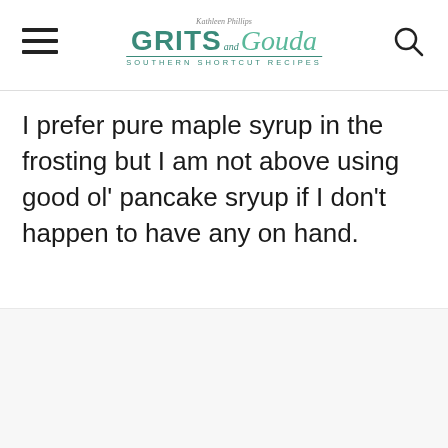Kathleen Phillips GRITS and Gouda SOUTHERN SHORTCUT RECIPES
I prefer pure maple syrup in the frosting but I am not above using good ol' pancake sryup if I don't happen to have any on hand.